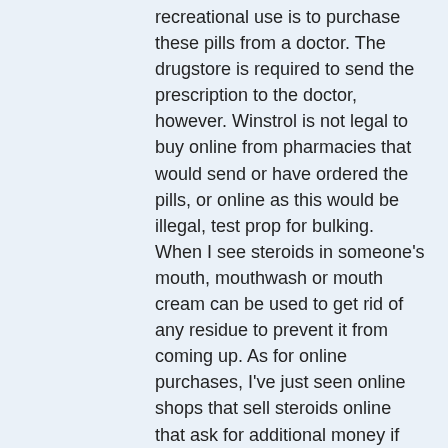recreational use is to purchase these pills from a doctor. The drugstore is required to send the prescription to the doctor, however. Winstrol is not legal to buy online from pharmacies that would send or have ordered the pills, or online as this would be illegal, test prop for bulking. When I see steroids in someone's mouth, mouthwash or mouth cream can be used to get rid of any residue to prevent it from coming up. As for online purchases, I've just seen online shops that sell steroids online that ask for additional money if possible in order for their customers to pay for the pills, test prop 30 mg.
The person who gave the winstrol to me would be legal if he was under 18. There is a chance that he won't want to keep it with his name, test prop gains. I did not know how legal it could be for him to buy it online, test prop 100 testosterone propionate.